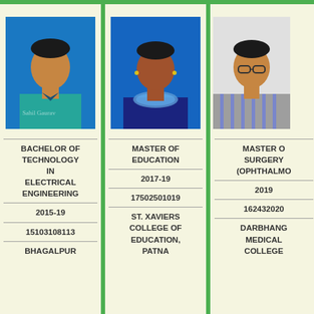[Figure (photo): Passport photo of a young male student in a teal shirt with a blue background]
BACHELOR OF TECHNOLOGY IN ELECTRICAL ENGINEERING
2015-19
15103108113
BHAGALPUR
[Figure (photo): Passport photo of a young female student with a blue background, wearing a scarf]
MASTER OF EDUCATION
2017-19
17502501019
ST. XAVIERS COLLEGE OF EDUCATION, PATNA
[Figure (photo): Passport photo of a male person with glasses and a striped shirt on a light background]
MASTER OF SURGERY (OPHTHALMOLOGY)
2019
162432020
DARBHANGA MEDICAL COLLEGE